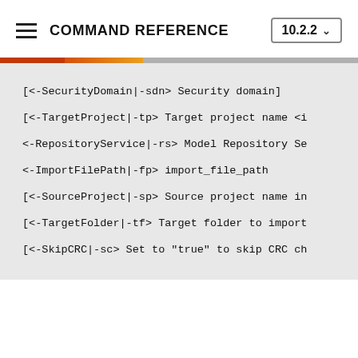COMMAND REFERENCE  10.2.2
[<-SecurityDomain|-sdn> Security domain]
[<-TargetProject|-tp> Target project name <i
<-RepositoryService|-rs> Model Repository Se
<-ImportFilePath|-fp> import_file_path
[<-SourceProject|-sp> Source project name in
[<-TargetFolder|-tf> Target folder to import
[<-SkipCRC|-sc> Set to "true" to skip CRC ch